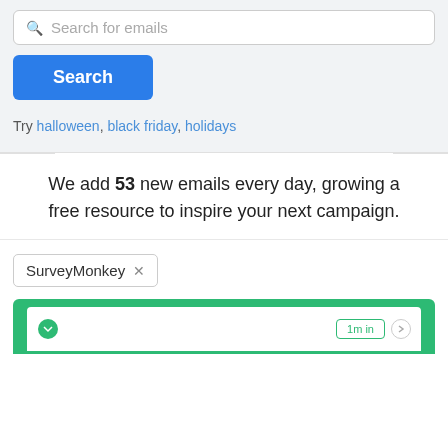Search for emails
Search
Try halloween, black friday, holidays
We add 53 new emails every day, growing a free resource to inspire your next campaign.
SurveyMonkey ×
[Figure (screenshot): Bottom green email preview card showing SurveyMonkey email thumbnail]